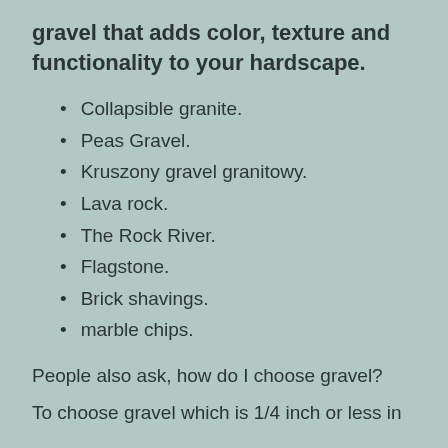gravel that adds color, texture and functionality to your hardscape.
Collapsible granite.
Peas Gravel.
Kruszony gravel granitowy.
Lava rock.
The Rock River.
Flagstone.
Brick shavings.
marble chips.
People also ask, how do I choose gravel?
To choose gravel which is 1/4 inch or less in